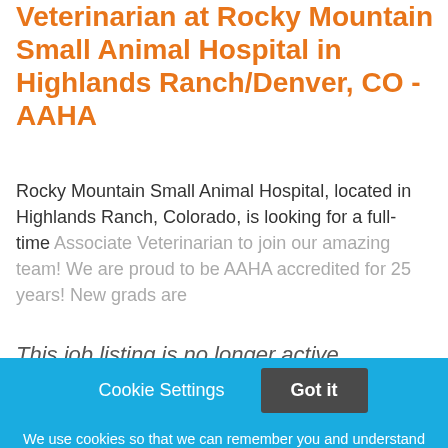Veterinarian at Rocky Mountain Small Animal Hospital in Highlands Ranch/Denver, CO - AAHA
Rocky Mountain Small Animal Hospital, located in Highlands Ranch, Colorado, is looking for a full-time Associate Veterinarian to join our amazing team! We are proud to be AAHA accredited for 25 years! New grads are
This job listing is no longer active.
Cookie Settings   Got it

We use cookies so that we can remember you and understand how you use our site. If you do not agree with our use of cookies, please change the current settings found in our Cookie Policy. Otherwise, you agree to the use of the cookies as they are currently set.